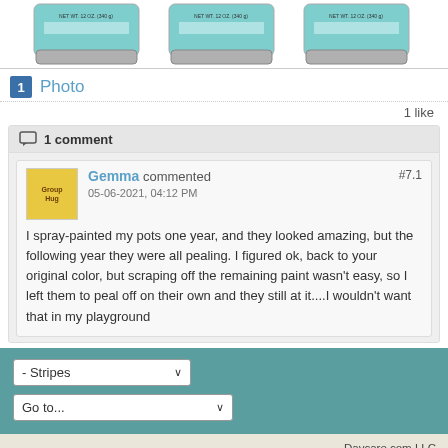[Figure (photo): Three teal/turquoise paint cans showing tops and labels, NET WT. 12 OZ (340g)]
1 Photo
1 like
1 comment
Gemma commented #7.1
05-06-2021, 04:12 PM
I spray-painted my pots one year, and they looked amazing, but the following year they were all pealing. I figured ok, back to your original color, but scraping off the remaining paint wasn't easy, so I left them to peal off on their own and they still at it....I wouldn't want that in my playground
- Stripes
Go to...
Daycare.com LLC
All times are GMT-8. This page was generated at 1 minute ago.